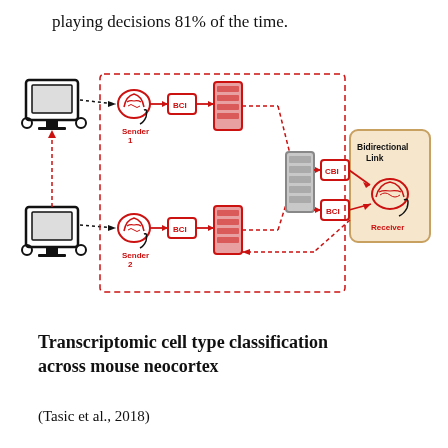playing decisions 81% of the time.
[Figure (schematic): A network diagram showing two senders (each with a computer monitor, brain interface, BCI box, and compute server) feeding into a central compute server, which connects via CBI and BCI to a Receiver in a 'Bidirectional Link' box. Dashed red arrows show signal flow between components.]
Transcriptomic cell type classification across mouse neocortex
(Tasic et al., 2018)